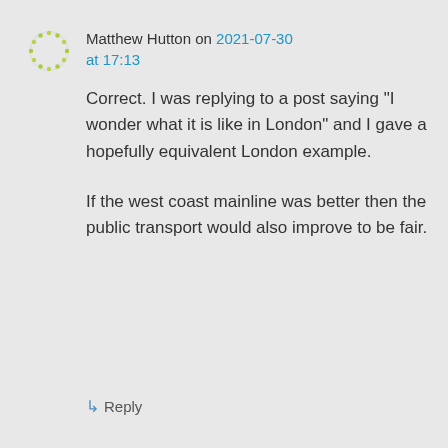[Figure (illustration): User avatar: circular dotted green ring icon representing a user profile picture]
Matthew Hutton on 2021-07-30 at 17:13
Correct. I was replying to a post saying “I wonder what it is like in London” and I gave a hopefully equivalent London example.
If the west coast mainline was better then the public transport would also improve to be fair.
↳ Reply